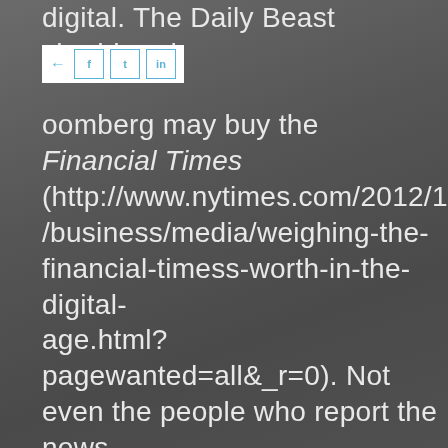digital. The Daily Beast shuddered. Bloomberg may buy the Financial Times (http://www.nytimes.com/2012/12/10/business/media/weighing-the-financial-timess-worth-in-the-digital-age.html?pagewanted=all&_r=0). Not even the people who report the news know what's coming next in the media business, but suffice it to say, disruption in this volatile realm will persist over the next 12 months. This has and will continue to create opportunity for markcom professionals and our clients. Limited resources in the editorial business create an opportunity to make contributions that afford a chance to control a business message. That can